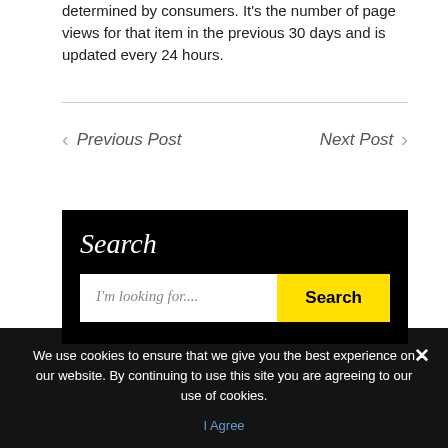determined by consumers. It's the number of page views for that item in the previous 30 days and is updated every 24 hours.
Previous Post
Next Post
Search
I'm looking for....
Search
We use cookies to ensure that we give you the best experience on our website. By continuing to use this site you are agreeing to our use of cookies.
I Agree